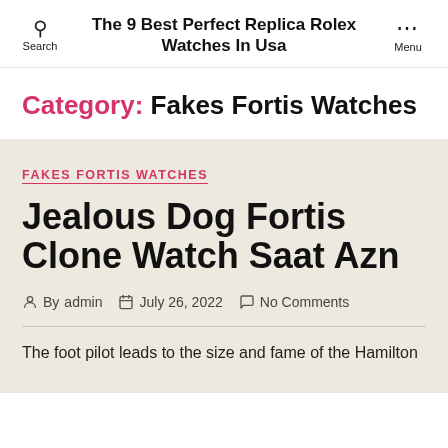The 9 Best Perfect Replica Rolex Watches In Usa
Category: Fakes Fortis Watches
FAKES FORTIS WATCHES
Jealous Dog Fortis Clone Watch Saat Azn
By admin · July 26, 2022 · No Comments
The foot pilot leads to the size and fame of the Hamilton